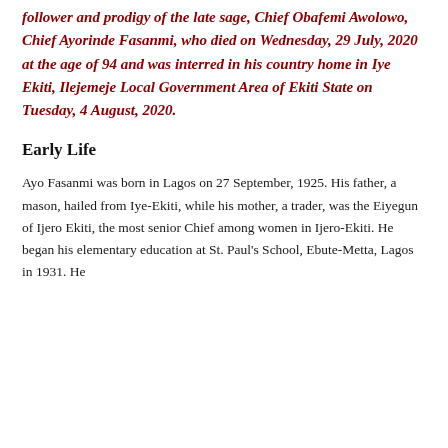follower and prodigy of the late sage, Chief Obafemi Awolowo, Chief Ayorinde Fasanmi, who died on Wednesday, 29 July, 2020 at the age of 94 and was interred in his country home in Iye Ekiti, Ilejemeje Local Government Area of Ekiti State on Tuesday, 4 August, 2020.
Early Life
Ayo Fasanmi was born in Lagos on 27 September, 1925. His father, a mason, hailed from Iye-Ekiti, while his mother, a trader, was the Eiyegun of Ijero Ekiti, the most senior Chief among women in Ijero-Ekiti. He began his elementary education at St. Paul's School, Ebute-Metta, Lagos in 1931. He